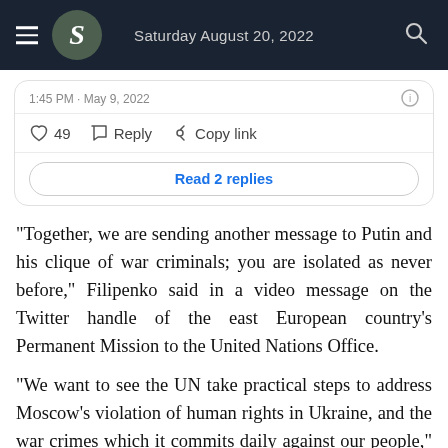Saturday August 20, 2022
[Figure (screenshot): Tweet card showing timestamp '1:45 PM · May 9, 2022', with like count 49, Reply button, Copy link button, and a 'Read 2 replies' button]
"Together, we are sending another message to Putin and his clique of war criminals; you are isolated as never before," Filipenko said in a video message on the Twitter handle of the east European country's Permanent Mission to the United Nations Office.
"We want to see the UN take practical steps to address Moscow's violation of human rights in Ukraine, and the war crimes which it commits daily against our people," sh[er] said.